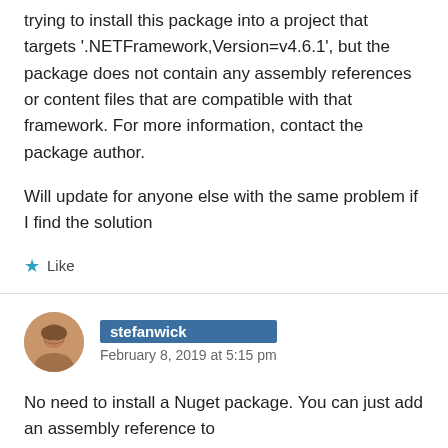trying to install this package into a project that targets '.NETFramework,Version=v4.6.1', but the package does not contain any assembly references or content files that are compatible with that framework. For more information, contact the package author.
Will update for anyone else with the same problem if I find the solution
★ Like
stefanwick
February 8, 2019 at 5:15 pm
No need to install a Nuget package. You can just add an assembly reference to %ProgramFiles(x86)%\Reference